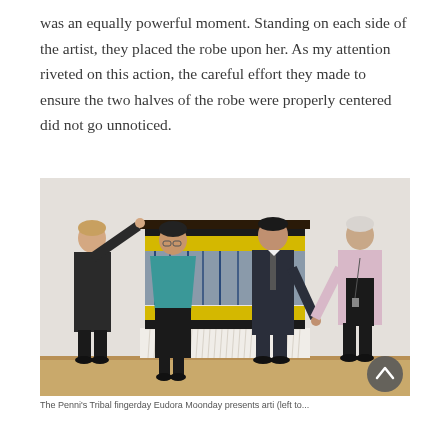was an equally powerful moment. Standing on each side of the artist, they placed the robe upon her. As my attention riveted on this action, the careful effort they made to ensure the two halves of the robe were properly centered did not go unnoticed.
[Figure (photo): Four people standing in front of a large textile artwork hanging on a white wall. From left: a woman in dark clothing holding the artwork, a woman in black with a teal/turquoise shawl (the artist), a man in a dark suit, and a woman in a light pink blazer with a lanyard. The artwork features yellow, black, and white horizontal bands with fringe at the bottom. The floor is light wood.]
The Penni's Tribal fingerday Eudora Moonday presents arti (left to...